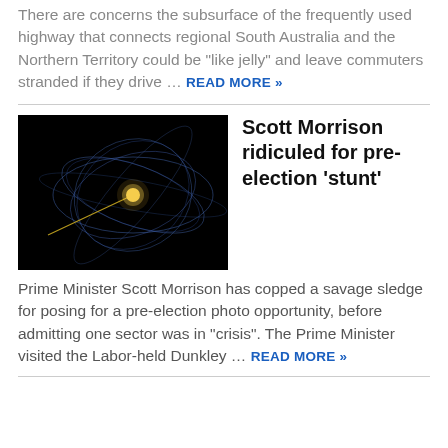There are concerns the subsurface of the frequently used highway that connects regional South Australia and the Northern Territory could be “like jelly” and leave commuters stranded if they drive … READ MORE »
[Figure (photo): Dark space-themed image showing orbital paths or trajectories around a bright central point, possibly related to a Scott Morrison pre-election photo opportunity event]
Scott Morrison ridiculed for pre-election ‘stunt’
Prime Minister Scott Morrison has copped a savage sledge for posing for a pre-election photo opportunity, before admitting one sector was in “crisis”. The Prime Minister visited the Labor-held Dunkley … READ MORE »